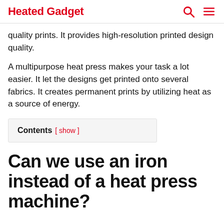Heated Gadget
quality prints. It provides high-resolution printed design quality.
A multipurpose heat press makes your task a lot easier. It let the designs get printed onto several fabrics. It creates permanent prints by utilizing heat as a source of energy.
Contents [ show ]
Can we use an iron instead of a heat press machine?